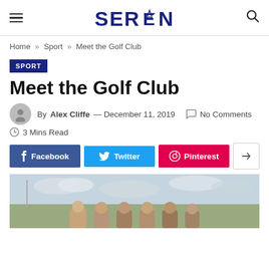SEREN
Home » Sport » Meet the Golf Club
SPORT
Meet the Golf Club
By Alex Cliffe — December 11, 2019   No Comments   3 Mins Read
[Figure (photo): Group photo of golf club members standing outdoors against a cloudy sky]